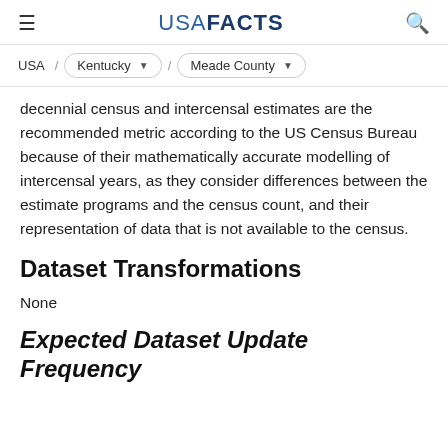USA FACTS
USA / Kentucky / Meade County
decennial census and intercensal estimates are the recommended metric according to the US Census Bureau because of their mathematically accurate modelling of intercensal years, as they consider differences between the estimate programs and the census count, and their representation of data that is not available to the census.
Dataset Transformations
None
Expected Dataset Update Frequency